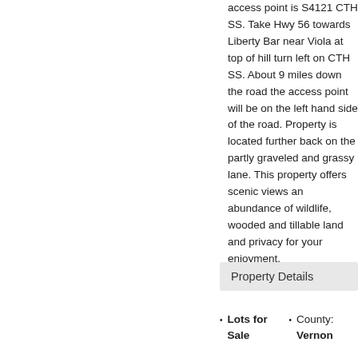access point is S4121 CTH SS. Take Hwy 56 towards Liberty Bar near Viola at top of hill turn left on CTH SS. About 9 miles down the road the access point will be on the left hand side of the road. Property is located further back on the partly graveled and grassy lane. This property offers scenic views an abundance of wildlife, wooded and tillable land and privacy for your enjoyment.
Property Details
Lots for Sale
County: Vernon